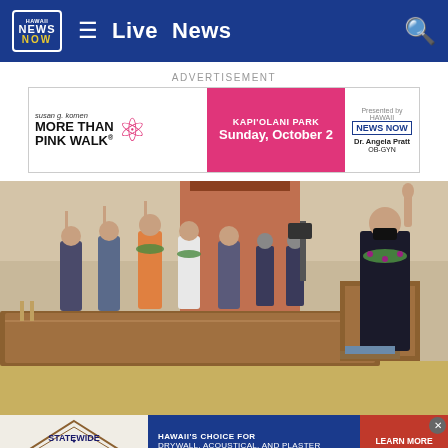Hawaii News Now — Live News
ADVERTISEMENT
[Figure (photo): Susan G. Komen More Than Pink Walk advertisement — KAPI'OLANI PARK, Sunday, October 2. Presented by Hawaii News Now, Dr. Angela Pratt OB-GYN.]
[Figure (photo): Five newly sworn-in council members raising right hands in a formal chamber, wearing leis and face masks, at a swearing-in ceremony.]
[Figure (photo): Statewide Drywall advertisement — Hawaii's Choice for Drywall, Acoustical, and Plaster. Learn More.]
Five ne... sworn